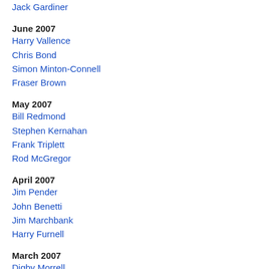Jack Gardiner
June 2007
Harry Vallence
Chris Bond
Simon Minton-Connell
Fraser Brown
May 2007
Bill Redmond
Stephen Kernahan
Frank Triplett
Rod McGregor
April 2007
Jim Pender
John Benetti
Jim Marchbank
Harry Furnell
March 2007
Digby Morrell
Links